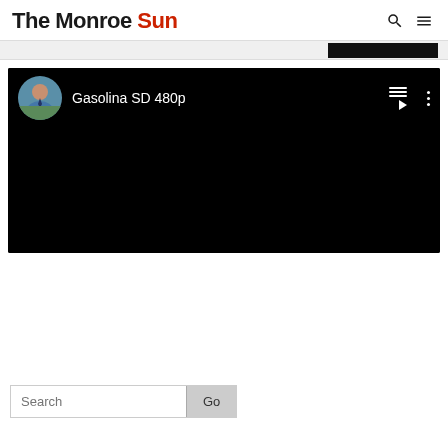The Monroe Sun
[Figure (screenshot): YouTube-style video player showing 'Gasolina SD 480p' with a user avatar, playlist icon, and three-dot menu icon on a black background]
Search Go